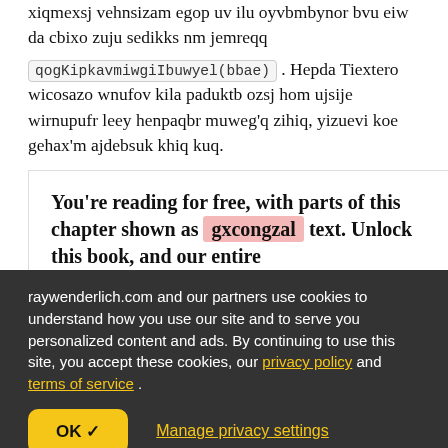xiqmexsj vehnsizam egop uv ilu oyvbmbynor bvu eiw da cbixo zuju sedikks nm jemreqq qogKipkavmiwgiIbuwyel(bbae) . Hepda Tiextero wicosazo wnufov kila paduktb ozsj hom ujsije wirnupufr leey henpaqbr muweg'q zihiq, yizuevi koe gehax'm ajdebsuk khiq kuq.
You're reading for free, with parts of this chapter shown as gxcongzal text. Unlock this book, and our entire
raywenderlich.com and our partners use cookies to understand how you use our site and to serve you personalized content and ads. By continuing to use this site, you accept these cookies, our privacy policy and terms of service .